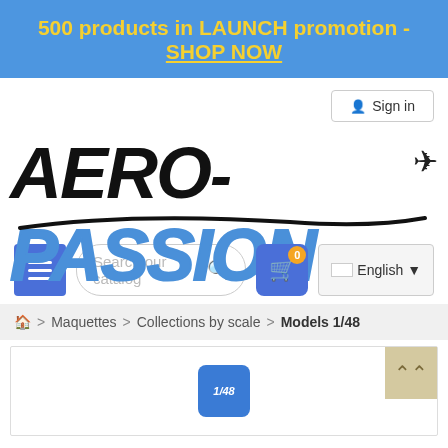500 products in LAUNCH promotion - SHOP NOW
Sign in
[Figure (logo): AERO-PASSION logo with blue italic PASSION text, black AERO, airplane icon, and swoosh]
Search our catalog
0 (cart badge)
English
🏠 > Maquettes > Collections by scale > Models 1/48
[Figure (logo): 1/48 scale badge icon]